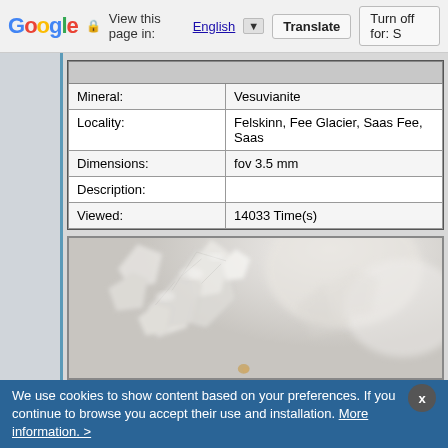Google | View this page in: English | Translate | Turn off for: S
|  |  |
| --- | --- |
| Mineral: | Vesuvianite |
| Locality: | Felskinn, Fee Glacier, Saas Fee, Saas |
| Dimensions: | fov 3.5 mm |
| Description: |  |
| Viewed: | 14033 Time(s) |
[Figure (photo): Close-up macro photograph of Vesuvianite mineral specimen showing translucent crystalline structure, white/colorless crystals against a soft light background]
We use cookies to show content based on your preferences. If you continue to browse you accept their use and installation. More information. >